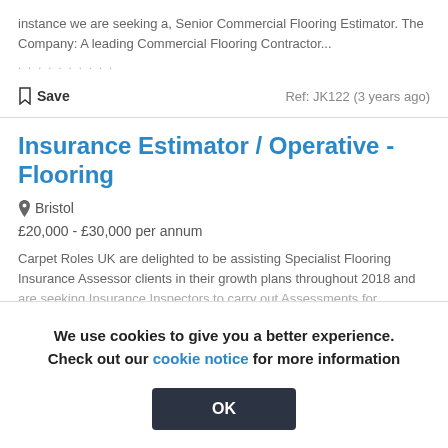instance we are seeking a, Senior Commercial Flooring Estimator. The Company: A leading Commercial Flooring Contractor...
Save
Ref: JK122 (3 years ago)
Insurance Estimator / Operative - Flooring
Bristol
£20,000 - £30,000 per annum
Carpet Roles UK are delighted to be assisting Specialist Flooring Insurance Assessor clients in their growth plans throughout 2018 and are seeking Insurance Inspectors to carry out Assessments for...
We use cookies to give you a better experience. Check out our cookie notice for more information
OK